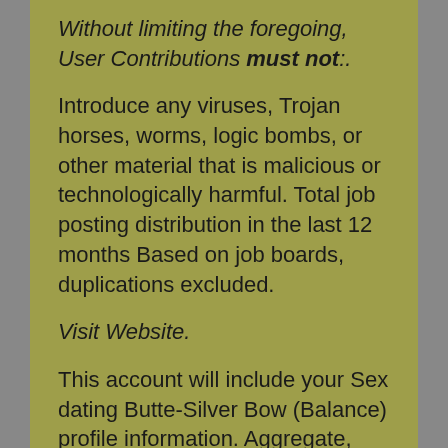Without limiting the foregoing, User Contributions must not:.
Introduce any viruses, Trojan horses, worms, logic bombs, or other material that is malicious or technologically harmful. Total job posting distribution in the last 12 months Based on job boards, duplications excluded.
Visit Website.
This account will include your Sex dating Butte-Silver Bow (Balance) profile information. Aggregate, copy, or duplicate in any manner any of the content or information available from any our Services, including expired job postings, unless authorized by us.
Job Seekers can utilize similar privacy controls on a per Customer basis in each Career Sex dating Butte-